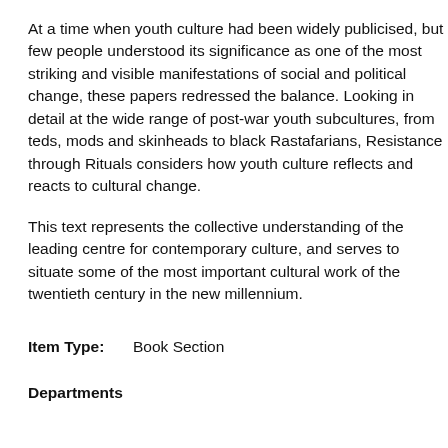At a time when youth culture had been widely publicised, but few people understood its significance as one of the most striking and visible manifestations of social and political change, these papers redressed the balance. Looking in detail at the wide range of post-war youth subcultures, from teds, mods and skinheads to black Rastafarians, Resistance through Rituals considers how youth culture reflects and reacts to cultural change.
This text represents the collective understanding of the leading centre for contemporary culture, and serves to situate some of the most important cultural work of the twentieth century in the new millennium.
Item Type:    Book Section
Departments